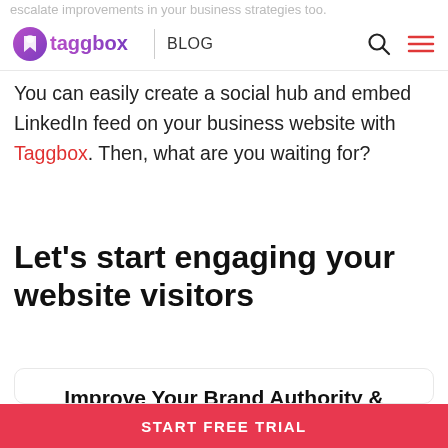escalate improvements in your business strategies too.
[Figure (logo): Taggbox logo with purple icon and gradient text, followed by a vertical divider and BLOG label, with search and menu icons on the right]
You can easily create a social hub and embed LinkedIn feed on your business website with Taggbox. Then, what are you waiting for?
Let's start engaging your website visitors
Improve Your Brand Authority & Conversions
Best Tool To Embed LinkedIn Feed On Website
START FREE TRIAL